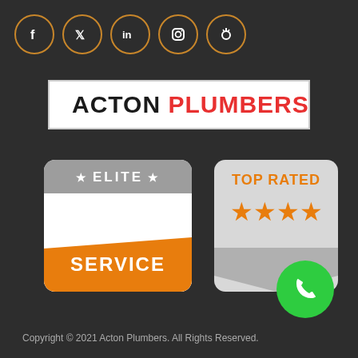[Figure (logo): Social media icons row: Facebook, Twitter, LinkedIn, Instagram, Pinterest — each in a circle with orange border]
[Figure (logo): Acton Plumbers logo: wrench/screwdriver icon on left, ACTON in black bold and PLUMBERS in red bold on white banner]
[Figure (logo): Elite Service badge: gray banner with stars and ELITE text, orange ribbon with SERVICE text]
[Figure (logo): Top Rated badge: gray shield shape with TOP RATED in orange text and four orange stars]
[Figure (logo): Green circle phone/call button]
Copyright © 2021 Acton Plumbers. All Rights Reserved.